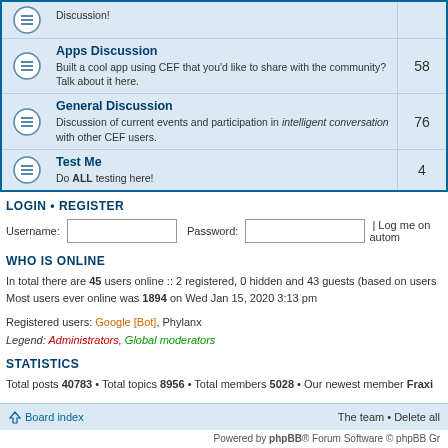| Forum | Posts |
| --- | --- |
| Apps Discussion — Built a cool app using CEF that you'd like to share with the community? Talk about it here. | 58 |
| General Discussion — Discussion of current events and participation in intelligent conversation with other CEF users. | 76 |
| Test Me — Do ALL testing here! | 4 |
LOGIN • REGISTER
Username: [input] Password: [input] | Log me on autom
WHO IS ONLINE
In total there are 45 users online :: 2 registered, 0 hidden and 43 guests (based on users
Most users ever online was 1894 on Wed Jan 15, 2020 3:13 pm
Registered users: Google [Bot], Phylanx
Legend: Administrators, Global moderators
STATISTICS
Total posts 40783 • Total topics 8956 • Total members 5028 • Our newest member Fraxi
Board index    The team • Delete all    Powered by phpBB® Forum Software © phpBB Gr